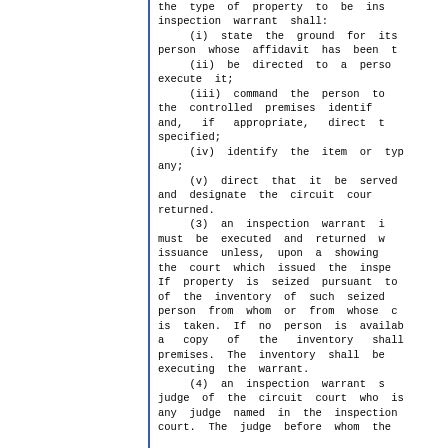the type of property to be ins inspection warrant shall:
     (i) state the ground for its person whose affidavit has been t
     (ii) be directed to a perso execute it;
     (iii) command the person to the controlled premises identif and, if appropriate, direct t specified;
     (iv) identify the item or typ any;
     (v) direct that it be served and designate the circuit cour returned.
     (3) an inspection warrant i must be executed and returned w issuance unless, upon a showing the court which issued the inspe If property is seized pursuant to of the inventory of such seized person from whom or from whose c is taken. If no person is availab a copy of the inventory shall premises. The inventory shall be executing the warrant.
     (4) an inspection warrant s judge of the circuit court who is any judge named in the inspection court. The judge before whom the